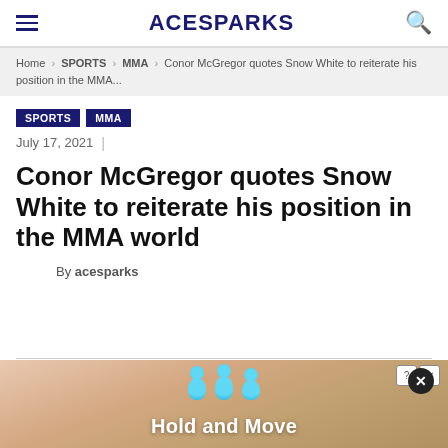ACESPARKS
Home > SPORTS > MMA > Conor McGregor quotes Snow White to reiterate his position in the MMA...
SPORTS
MMA
July 17, 2021
Conor McGregor quotes Snow White to reiterate his position in the MMA world
By acesparks
[Figure (screenshot): Advertisement banner showing 'Hold and Move' game with blue cartoon figures on a wooden background]